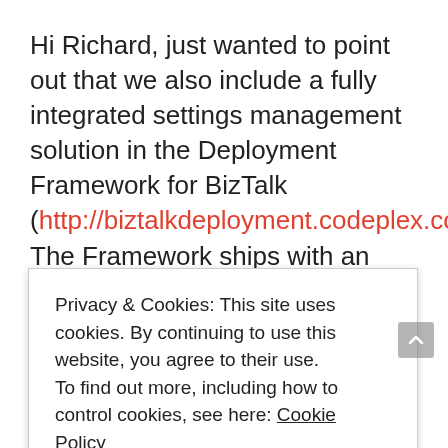Hi Richard, just wanted to point out that we also include a fully integrated settings management solution in the Deployment Framework for BizTalk (http://biztalkdeployment.codeplex.com). The Framework ships with an easy-to-use Excel spreadsheet (based on the Environment Settings Manager on CodePlex) that allows all settings across environments to be managed in one place. Those settings can be auto-deployed into SSO and used to update binding and other XML files. Once the app is
Privacy & Cookies: This site uses cookies. By continuing to use this website, you agree to their use.
To find out more, including how to control cookies, see here: Cookie Policy
CLOSE AND ACCEPT
for BizTalk: